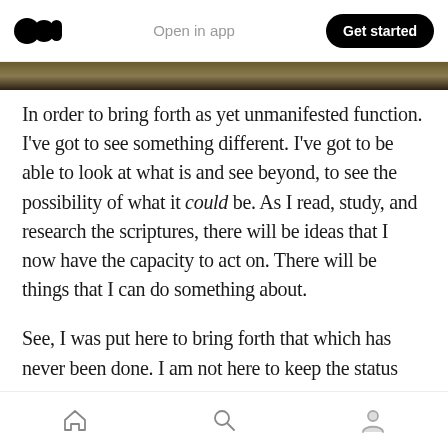Open in app | Get started
[Figure (photo): Partial photo strip visible at top of article]
In order to bring forth as yet unmanifested function. I've got to see something different. I've got to be able to look at what is and see beyond, to see the possibility of what it could be. As I read, study, and research the scriptures, there will be ideas that I now have the capacity to act on. There will be things that I can do something about.
See, I was put here to bring forth that which has never been done. I am not here to keep the status
Home | Search | Profile